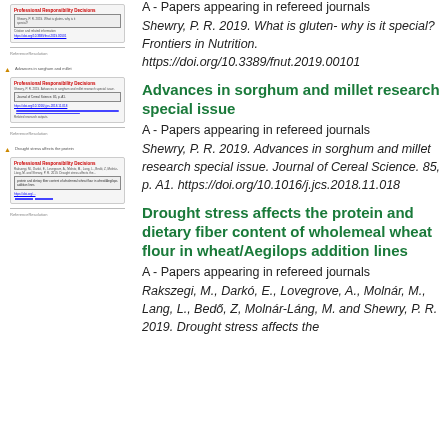[Figure (screenshot): Thumbnail of a research output page showing citation for Shewry 2019 gluten paper with DOI link]
A - Papers appearing in refereed journals
Shewry, P. R. 2019. What is gluten- why is it special? Frontiers in Nutrition. https://doi.org/10.3389/fnut.2019.00101
[Figure (screenshot): Thumbnail of a research output page showing citation for Shewry 2019 sorghum and millet paper]
Advances in sorghum and millet research special issue
A - Papers appearing in refereed journals
Shewry, P. R. 2019. Advances in sorghum and millet research special issue. Journal of Cereal Science. 85, p. A1. https://doi.org/10.1016/j.jcs.2018.11.018
[Figure (screenshot): Thumbnail of a research output page showing citation for Rakszegi et al. 2019 drought stress paper]
Drought stress affects the protein and dietary fiber content of wholemeal wheat flour in wheat/Aegilops addition lines
A - Papers appearing in refereed journals
Rakszegi, M., Darkó, E., Lovegrove, A., Molnár, M., Lang, L., Bedő, Z, Molnár-Láng, M. and Shewry, P. R. 2019. Drought stress affects the